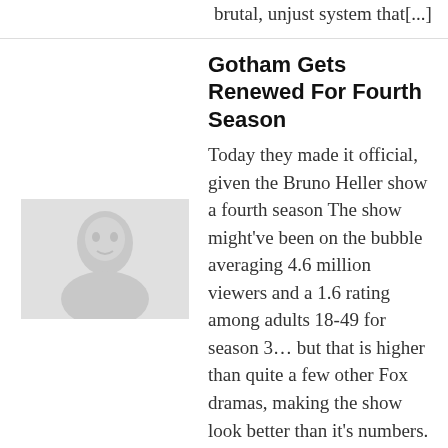brutal, unjust system that[...]
Gotham Gets Renewed For Fourth Season
[Figure (photo): Grayscale thumbnail image related to Gotham TV show]
Today they made it official, given the Bruno Heller show a fourth season The show might've been on the bubble averaging 4.6 million viewers and a 1.6 rating among adults 18-49 for season 3… but that is higher than quite a few other Fox dramas, making the show look better than it's numbers. Fox also renewed Last[...]
"A Decision He'll Regret For The Rest Of His Life" – Ben McKenzie On Jim Gordon